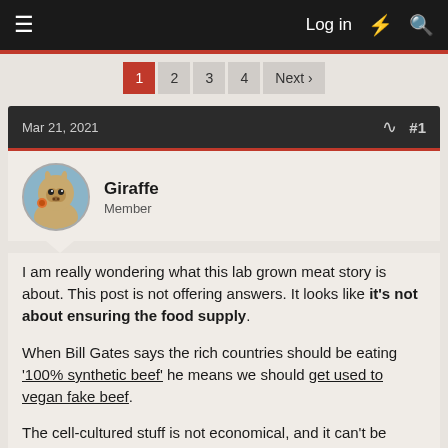Log in
1 2 3 4 Next
Mar 21, 2021  #1
Giraffe
Member
I am really wondering what this lab grown meat story is about. This post is not offering answers. It looks like it's not about ensuring the food supply.

When Bill Gates says the rich countries should be eating '100% synthetic beef' he means we should get used to vegan fake beef.

The cell-cultured stuff is not economical, and it can't be scaled up to a point where you could feed a population. The thought of eating it is disgusting. So why do people invest in that technology? What for?